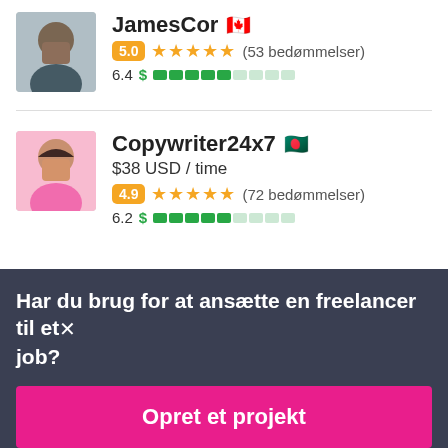JamesCor 🇨🇦
5.0 ★★★★★ (53 bedømmelser)
6.4
Copywriter24x7 🇧🇩
$38 USD / time
4.9 ★★★★★ (72 bedømmelser)
6.2
Har du brug for at ansætte en freelancer til et job?
Opret et projekt